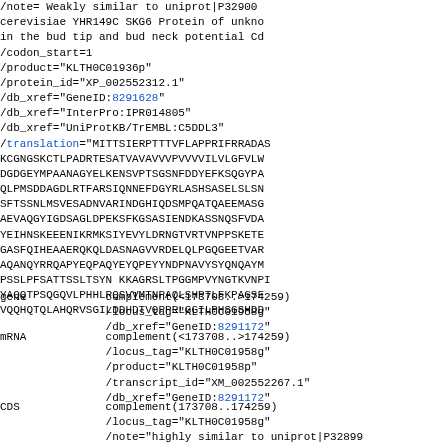/note="Weakly similar to uniprot|P32900 cerevisiae YHR149C SKG6 Protein of unknown function; in the bud tip and bud neck potential Cd
/codon_start=1
/product="KLTH0C01936p"
/protein_id="XP_002552312.1"
/db_xref="GeneID:8291628"
/db_xref="InterPro:IPR014805"
/db_xref="UniProtKB/TrEMBL:C5DDL3"
/translation="MITTSIERPTTTVFLAPPRIFRRADSMKCGNGSKCTLPADRTESATVAVAVVVPVVVVILVLGFVLWDGDGEYMPAANAGYELKENSVPTSGSNFDDYEFKSQGYPAQLPMSDDAGDLRTFARSIQNNEFDGYRLASHSASELSLSNSFTSSNLMSVESADNVARINDGHIQDSMPQATQAEEMASGAEVAQGYIGDSAGLDPEKSFKGSASIENDKASSNQSFVDAYEIHNSKEEENIKRMKSIYEVYLDRNGTVRTVNPPSKETEGASFQIHEAAERQKQLDASNAGVVRDELQLPGQGEETVARA QANQYRRQAPYEQPAQYEYQPEYYNDPNAVYSYQNQAYMPSSLPFSATTSSLTSYN KKAGRSLTPGGMPVYNGTKVNPIYAQQTPSQGQVLPHHLRQSVVMTNPAQLSHPTLFKPAGSF VQQHQTQLAHQRVSGILDDHDTVQPPRLGGILPHSGSHDD
gene            complement(<173708..>174259)
                     /locus_tag="KLTH0C01958g"
                     /db_xref="GeneID:8291172"
mRNA            complement(<173708..>174259)
                     /locus_tag="KLTH0C01958g"
                     /product="KLTH0C01958p"
                     /transcript_id="XM_002552267.1"
                     /db_xref="GeneID:8291172"
CDS             complement(173708..174259)
                     /locus_tag="KLTH0C01958g"
                     /note="highly similar to uniprot|P32899 cerevisiae YHR148W IMP2 Component of the